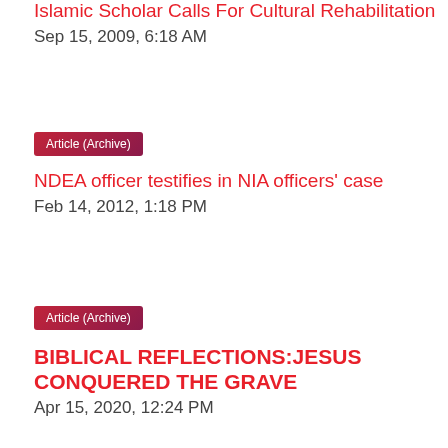Islamic Scholar Calls For Cultural Rehabilitation
Sep 15, 2009, 6:18 AM
Article (Archive)
NDEA officer testifies in NIA officers' case
Feb 14, 2012, 1:18 PM
Article (Archive)
BIBLICAL REFLECTIONS:JESUS CONQUERED THE GRAVE
Apr 15, 2020, 12:24 PM